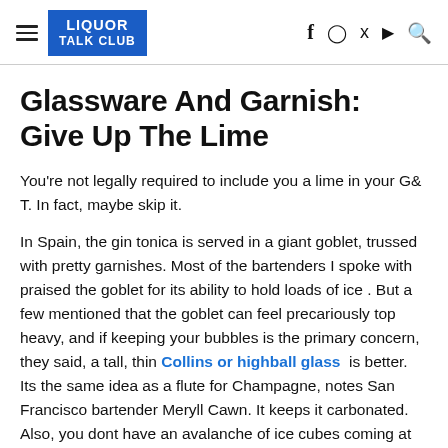LIQUOR TALK CLUB
Glassware And Garnish: Give Up The Lime
You're not legally required to include you a lime in your G& T. In fact, maybe skip it.
In Spain, the gin tonica is served in a giant goblet, trussed with pretty garnishes. Most of the bartenders I spoke with praised the goblet for its ability to hold loads of ice . But a few mentioned that the goblet can feel precariously top heavy, and if keeping your bubbles is the primary concern, they said, a tall, thin Collins or highball glass  is better. Its the same idea as a flute for Champagne, notes San Francisco bartender Meryll Cawn. It keeps it carbonated. Also, you dont have an avalanche of ice cubes coming at